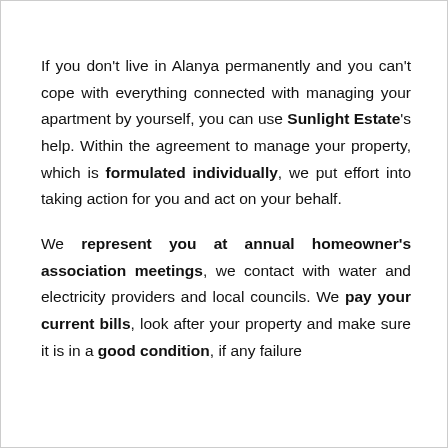If you don't live in Alanya permanently and you can't cope with everything connected with managing your apartment by yourself, you can use Sunlight Estate's help. Within the agreement to manage your property, which is formulated individually, we put effort into taking action for you and act on your behalf.
We represent you at annual homeowner's association meetings, we contact with water and electricity providers and local councils. We pay your current bills, look after your property and make sure it is in a good condition, if any failure